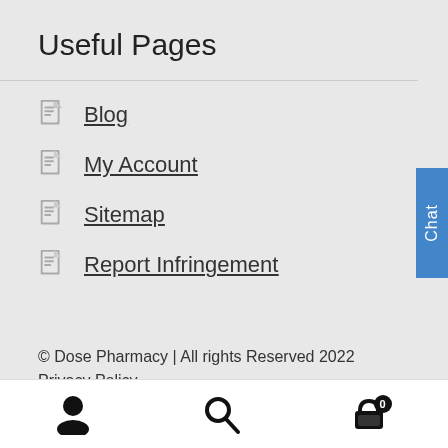Useful Pages
Blog
My Account
Sitemap
Report Infringement
© Dose Pharmacy | All rights Reserved 2022
Privacy Policy